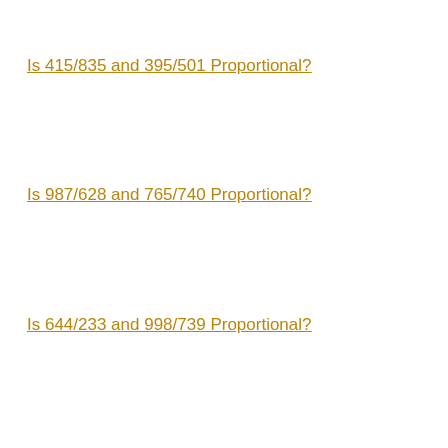Is 415/835 and 395/501 Proportional?
Is 987/628 and 765/740 Proportional?
Is 644/233 and 998/739 Proportional?
Is 463/609 and 378/664 Proportional?
Is 308/568 and 969/658 Proportional?
Is 356/457 and 793/574 Proportional?
Is 480/231 and 137/418 Proportional?
Is 814/746 and 532/420 Proportional?